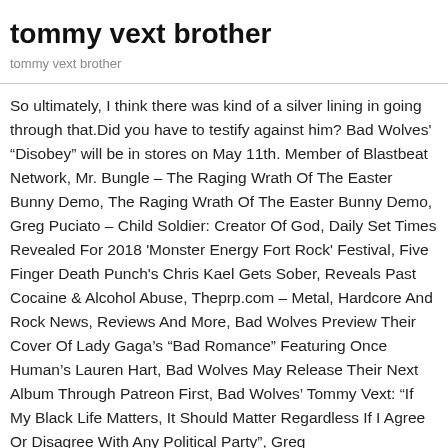tommy vext brother
tommy vext brother
So ultimately, I think there was kind of a silver lining in going through that.Did you have to testify against him? Bad Wolves' “Disobey” will be in stores on May 11th. Member of Blastbeat Network, Mr. Bungle – The Raging Wrath Of The Easter Bunny Demo, The Raging Wrath Of The Easter Bunny Demo, Greg Puciato – Child Soldier: Creator Of God, Daily Set Times Revealed For 2018 'Monster Energy Fort Rock' Festival, Five Finger Death Punch's Chris Kael Gets Sober, Reveals Past Cocaine & Alcohol Abuse, Theprp.com – Metal, Hardcore And Rock News, Reviews And More, Bad Wolves Preview Their Cover Of Lady Gaga’s “Bad Romance” Featuring Once Human’s Lauren Hart, Bad Wolves May Release Their Next Album Through Patreon First, Bad Wolves’ Tommy Vext: “If My Black Life Matters, It Should Matter Regardless If I Agree Or Disagree With Any Political Party”, Greg